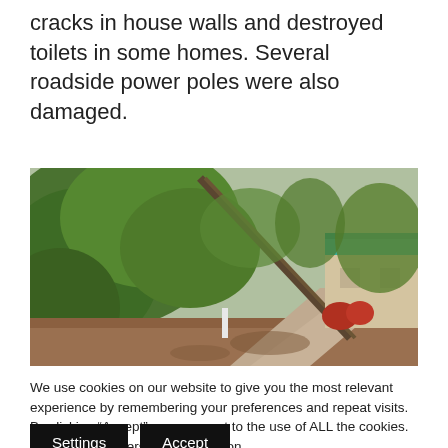cracks in house walls and destroyed toilets in some homes. Several roadside power poles were also damaged.
[Figure (photo): Outdoor scene showing fallen or leaning trees and a downed power pole along a rural roadside path, with a building with a teal/green roof visible on the right side.]
We use cookies on our website to give you the most relevant experience by remembering your preferences and repeat visits. By clicking “Accept”, you consent to the use of ALL the cookies.
Do not sell my personal information.
Settings
Accept